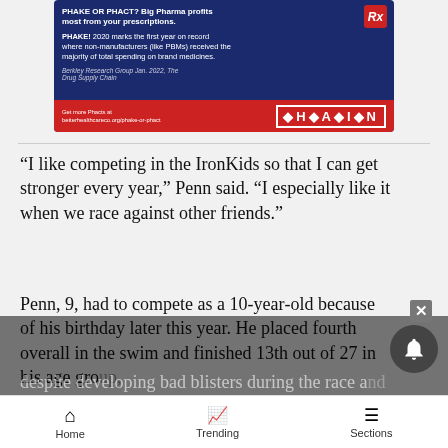[Figure (screenshot): Advertisement banner for CHAIN / betterhealthcareco.org. Blue background with text: 'PHAKE! 2020 marks the first year on record where non-manufacturers (like PBMs) received the majority of total spending on brand medicines.' Source: Berkley Research Group Jan. 2022, The Drug Supply Chain. Red bar at bottom: 'Get more Phacts at betterhealthcareco.org/phake-or-phact' with CHAIN logo.]
“I like competing in the IronKids so that I can get stronger every year,” Penn said. “I especially like it when we race against other friends.”
Penn, 9, had to compete as a 10-year-old because of his birthday later this year. He placed fourth overall in the swim and finished 13th out of 27 in his age group, despite developing bad blisters during the race and running with his heels out of his shoes.
Home   Trending   Sections